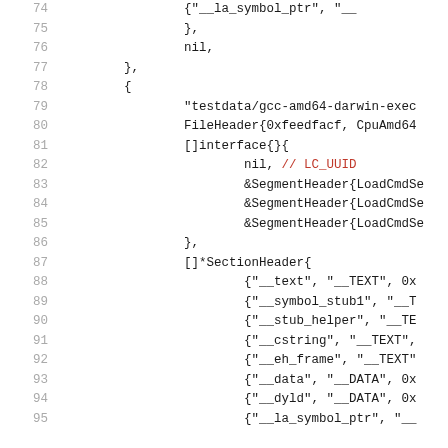Code listing lines 74-95 showing Go test data structure with segment headers, section headers, and file header definitions for a gcc-amd64-darwin executable Mach-O file.